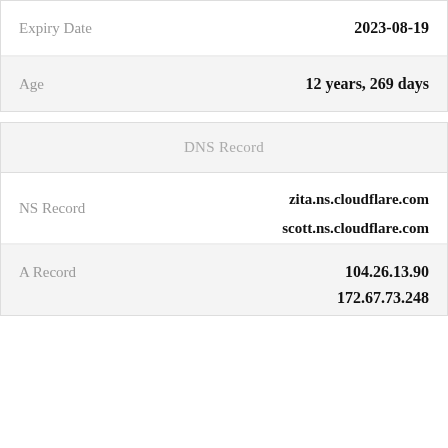| Field | Value |
| --- | --- |
| Expiry Date | 2023-08-19 |
| Age | 12 years, 269 days |
DNS Record
| Field | Value |
| --- | --- |
| NS Record | zita.ns.cloudflare.com
scott.ns.cloudflare.com |
| A Record | 104.26.13.90
172.67.73.248 |